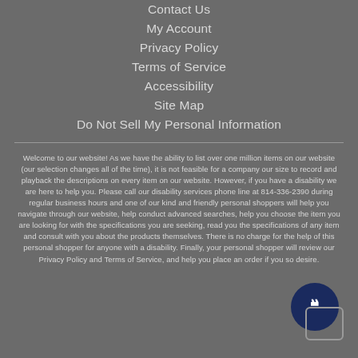Contact Us
My Account
Privacy Policy
Terms of Service
Accessibility
Site Map
Do Not Sell My Personal Information
Welcome to our website! As we have the ability to list over one million items on our website (our selection changes all of the time), it is not feasible for a company our size to record and playback the descriptions on every item on our website. However, if you have a disability we are here to help you. Please call our disability services phone line at 814-336-2390 during regular business hours and one of our kind and friendly personal shoppers will help you navigate through our website, help conduct advanced searches, help you choose the item you are looking for with the specifications you are seeking, read you the specifications of any item and consult with you about the products themselves. There is no charge for the help of this personal shopper for anyone with a disability. Finally, your personal shopper will review our Privacy Policy and Terms of Service, and help you place an order if you so desire.
[Figure (illustration): Chat widget with dark navy circle icon containing a speech bubble symbol, overlapping a rounded square outline]